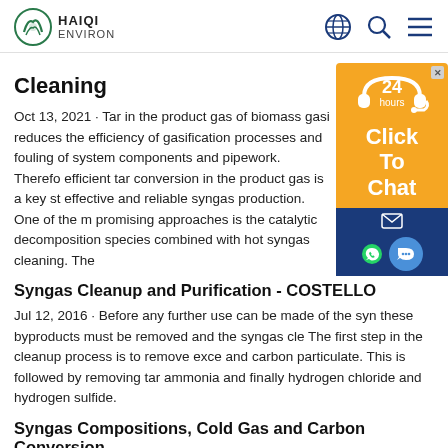HAIQI ENVIRON
Cleaning
Oct 13, 2021 · Tar in the product gas of biomass gasi reduces the efficiency of gasification processes and fouling of system components and pipework. Therefore efficient tar conversion in the product gas is a key st effective and reliable syngas production. One of the promising approaches is the catalytic decomposition species combined with hot syngas cleaning. The
Syngas Cleanup and Purification - COSTELLO
Jul 12, 2016 · Before any further use can be made of the syn these byproducts must be removed and the syngas cle The first step in the cleanup process is to remove exce and carbon particulate. This is followed by removing tar ammonia and finally hydrogen chloride and hydrogen sulfide.
Syngas Compositions, Cold Gas and Carbon Conversion
The raw syngas produced from gasifiers needs a cleaning